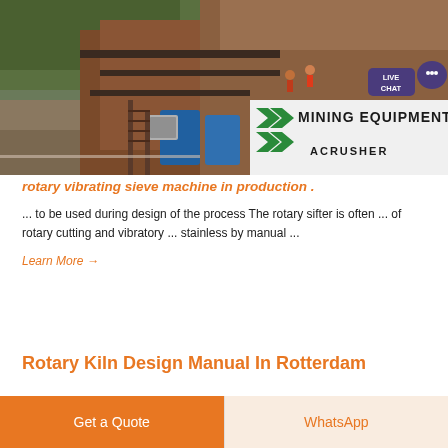[Figure (photo): Mining equipment / crushing plant at an outdoor site with machinery, conveyor belts, and workers visible. Green foliage in background. 'MINING EQUIPMENT ACRUSHER' branding with green chevrons visible on right side. Live Chat bubble in top-right corner.]
rotary vibrating sieve machine in production .
... to be used during design of the process The rotary sifter is often ... of rotary cutting and vibratory ... stainless by manual ...
Learn More →
Rotary Kiln Design Manual In Rotterdam
Get a Quote
WhatsApp